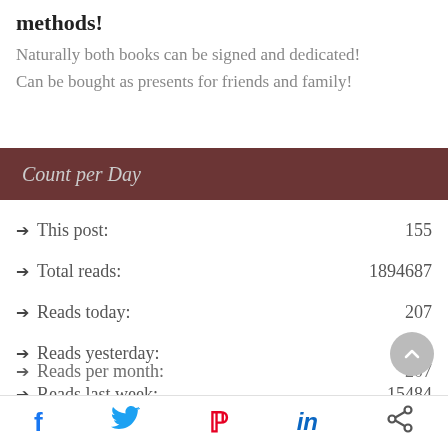methods!
Naturally both books can be signed and dedicated!
Can be bought as presents for friends and family!
Count per Day
This post: 155
Total reads: 1894687
Reads today: 207
Reads yesterday: 581
Reads last week: 15484
Reads per month: 207